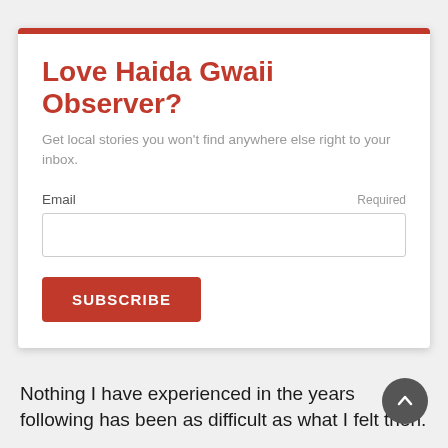Love Haida Gwaii Observer?
Get local stories you won't find anywhere else right to your inbox.
Email
Required
SUBSCRIBE
Nothing I have experienced in the years following has been as difficult as what I felt then.